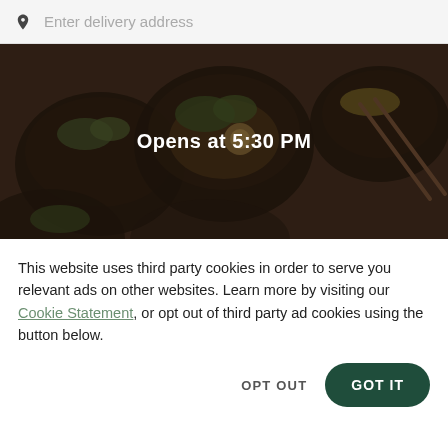Enter delivery address
[Figure (photo): Dark overhead photo of ramen bowls with the text 'Opens at 5:30 PM' overlaid in the center]
This website uses third party cookies in order to serve you relevant ads on other websites. Learn more by visiting our Cookie Statement, or opt out of third party ad cookies using the button below.
OPT OUT
GOT IT